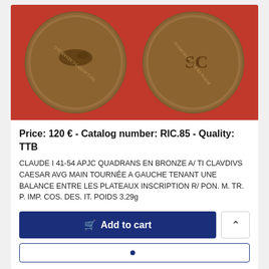[Figure (photo): Two Roman bronze coins (quadrans) of Claudius I shown side by side on a red background. Left coin shows obverse with figure and legend TI CLAVDIVS CAESAR AVG. Right coin shows reverse with SC monogram and inscription PON. M. TR. P. IMP. COS.]
Price: 120 € - Catalog number: RIC.85 - Quality: TTB
CLAUDE I 41-54 APJC QUADRANS EN BRONZE A/ TI CLAVDIVS CAESAR AVG MAIN TOURNÉE A GAUCHE TENANT UNE BALANCE ENTRE LES PLATEAUX INSCRIPTION R/ PON. M. TR. P. IMP. COS. DES. IT. POIDS 3.29g